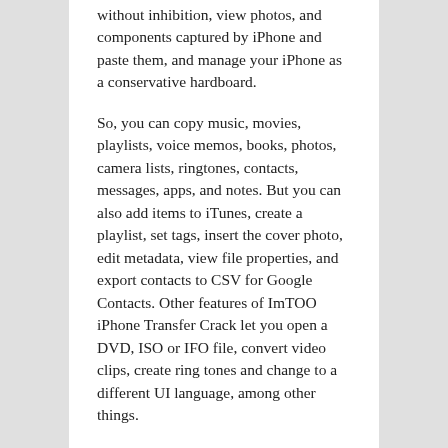without inhibition, view photos, and components captured by iPhone and paste them, and manage your iPhone as a conservative hardboard.
So, you can copy music, movies, playlists, voice memos, books, photos, camera lists, ringtones, contacts, messages, apps, and notes. But you can also add items to iTunes, create a playlist, set tags, insert the cover photo, edit metadata, view file properties, and export contacts to CSV for Google Contacts. Other features of ImTOO iPhone Transfer Crack let you open a DVD, ISO or IFO file, convert video clips, create ring tones and change to a different UI language, among other things.
Several configuration options are available through the configuration screen. For example, you can choose the snapshot folder